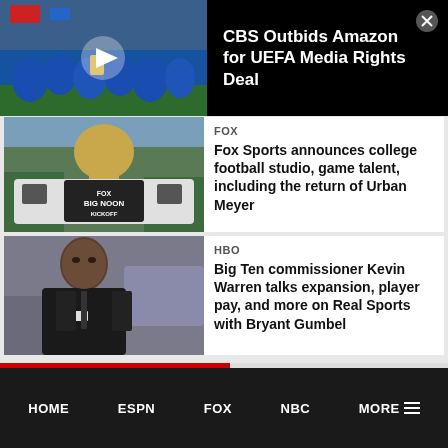[Figure (photo): Soccer team celebrating, players in blue jerseys with trophy, overlay play button triangle]
CBS Outbids Amazon for UEFA Media Rights Deal
[Figure (photo): Fox Big Noon Kickoff truck/studio outside building with dome]
FOX
Fox Sports announces college football studio, game talent, including the return of Urban Meyer
[Figure (photo): Man in dark suit and tie, Big Ten commissioner Kevin Warren]
HBO
Big Ten commissioner Kevin Warren talks expansion, player pay, and more on Real Sports with Bryant Gumbel
HOME   ESPN   FOX   NBC   MORE